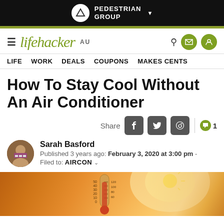PEDESTRIAN GROUP
lifehacker AU — LIFE WORK DEALS COUPONS MAKES CENTS
How To Stay Cool Without An Air Conditioner
Share
Sarah Basford
Published 3 years ago: February 3, 2020 at 3:00 pm -
Filed to: AIRCON
[Figure (photo): A thermometer showing high temperatures against a bright orange/yellow sunny sky background, suggesting extreme heat.]